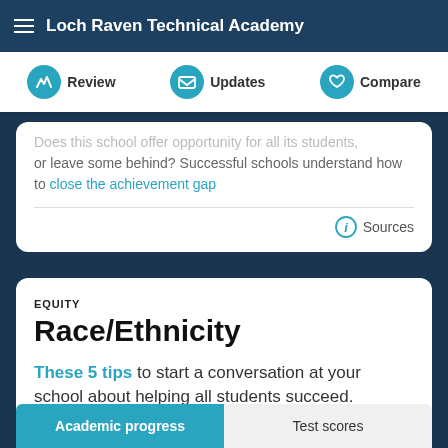Loch Raven Technical Academy
Review | Updates | Compare
Does this school offer opportunity for all its students, or leave some behind? Successful schools understand how to close the achievement gap
Sources
EQUITY
Race/Ethnicity
These 5 tips to start a conversation at your school about helping all students succeed.
Academic progress | Test scores